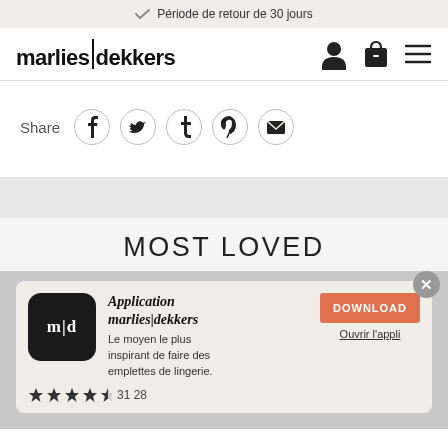Période de retour de 30 jours
[Figure (logo): marlies|dekkers logo with account, bag, and menu icons]
Share
[Figure (infographic): Social share icons: Facebook, Twitter, Tumblr, Pinterest, Email]
MOST LOVED
[Figure (infographic): App promotion card for marlies|dekkers app with m|d icon, description 'Le moyen le plus inspirant de faire des emplettes de lingerie.', star rating 31 28, DOWNLOAD button, and Ouvrir l'appli link]